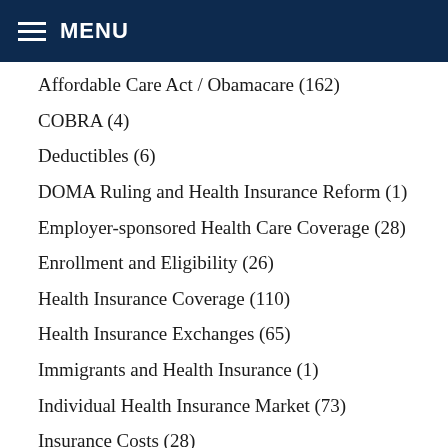MENU
Affordable Care Act / Obamacare (162)
COBRA (4)
Deductibles (6)
DOMA Ruling and Health Insurance Reform (1)
Employer-sponsored Health Care Coverage (28)
Enrollment and Eligibility (26)
Health Insurance Coverage (110)
Health Insurance Exchanges (65)
Immigrants and Health Insurance (1)
Individual Health Insurance Market (73)
Insurance Costs (28)
Long Term Care (2)